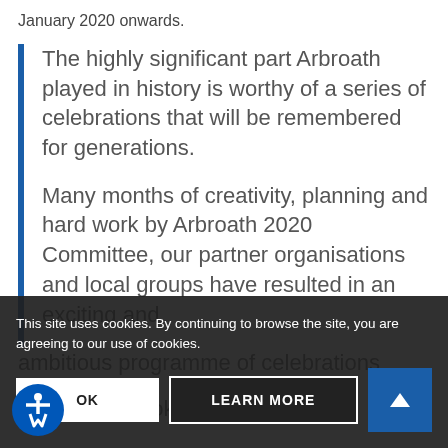January 2020 onwards.
The highly significant part Arbroath played in history is worthy of a series of celebrations that will be remembered for generations.
Many months of creativity, planning and hard work by Arbroath 2020 Committee, our partner organisations and local groups have resulted in an exciting and ambitious programme of celebrations...
The events took place in Arbroath during 2020 with...